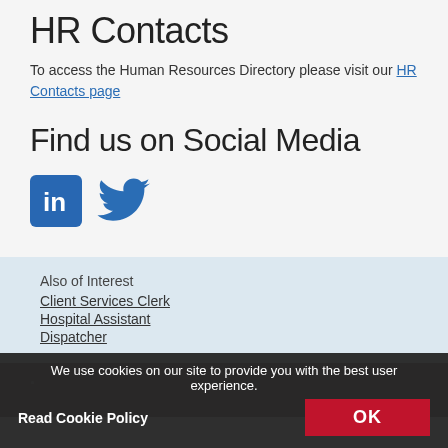HR Contacts
To access the Human Resources Directory please visit our HR Contacts page
Find us on Social Media
[Figure (logo): LinkedIn and Twitter social media icons]
Also of Interest
Client Services Clerk
Hospital Assistant
Dispatcher
We use cookies on our site to provide you with the best user experience.
Read Cookie Policy
OK